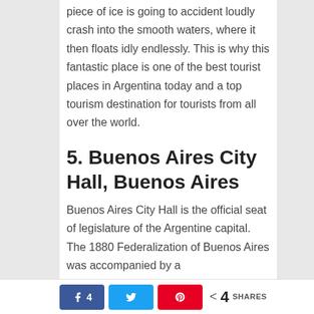piece of ice is going to accident loudly crash into the smooth waters, where it then floats idly endlessly. This is why this fantastic place is one of the best tourist places in Argentina today and a top tourism destination for tourists from all over the world.
5. Buenos Aires City Hall, Buenos Aires
Buenos Aires City Hall is the official seat of legislature of the Argentine capital. The 1880 Federalization of Buenos Aires was accompanied by a